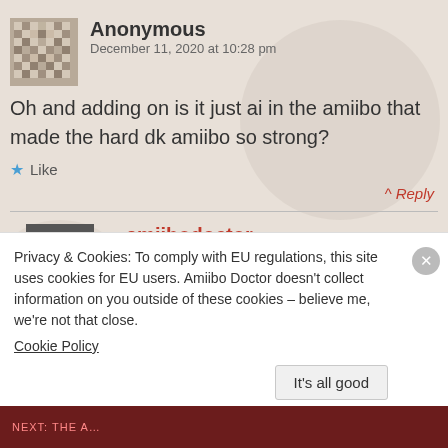Anonymous
December 11, 2020 at 10:28 pm
Oh and adding on is it just ai in the amiibo that made the hard dk amiibo so strong?
Like
Reply
amiibodoctor
December 11, 2020 at 11:14 pm
Privacy & Cookies: To comply with EU regulations, this site uses cookies for EU users. Amiibo Doctor doesn't collect information on you outside of these cookies – believe me, we're not that close.
Cookie Policy
It's all good